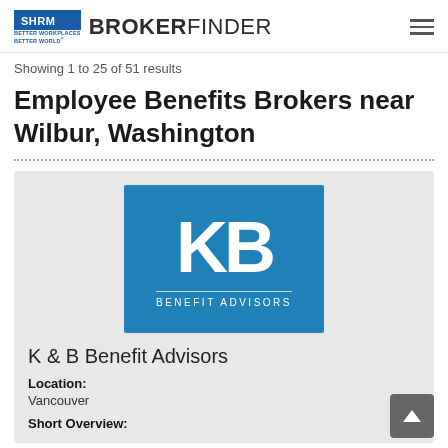SHRM BROKERFINDER
Showing 1 to 25 of 51 results
Employee Benefits Brokers near Wilbur, Washington
[Figure (logo): KB Benefit Advisors logo — blue square background with large white K and B letters and 'BENEFIT ADVISORS' text below]
K & B Benefit Advisors
Location:
Vancouver
Short Overview: